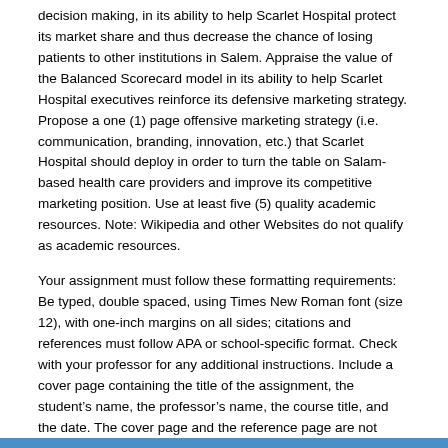decision making, in its ability to help Scarlet Hospital protect its market share and thus decrease the chance of losing patients to other institutions in Salem. Appraise the value of the Balanced Scorecard model in its ability to help Scarlet Hospital executives reinforce its defensive marketing strategy. Propose a one (1) page offensive marketing strategy (i.e. communication, branding, innovation, etc.) that Scarlet Hospital should deploy in order to turn the table on Salam-based health care providers and improve its competitive marketing position. Use at least five (5) quality academic resources. Note: Wikipedia and other Websites do not qualify as academic resources.
Your assignment must follow these formatting requirements: Be typed, double spaced, using Times New Roman font (size 12), with one-inch margins on all sides; citations and references must follow APA or school-specific format. Check with your professor for any additional instructions. Include a cover page containing the title of the assignment, the student’s name, the professor’s name, the course title, and the date. The cover page and the reference page are not included in the required assignment page length.